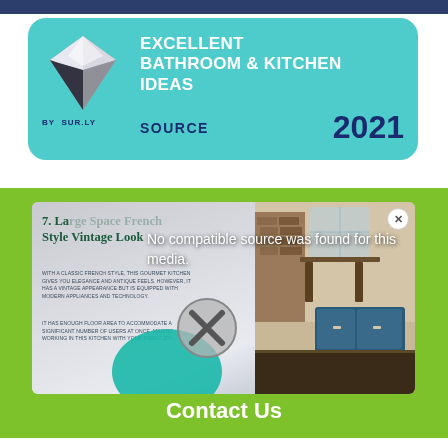[Figure (logo): Excellent Bathroom & Kitchen Ideas award badge by Sur.ly, teal rounded rectangle with diamond logo, SOURCE 2021]
[Figure (screenshot): Video player showing article '7. Large Space French Style Vintage Look' with kitchen photo on right and 'No compatible source was found for this media.' overlay message with X playback button]
No compatible source was found for this media.
Contact Us